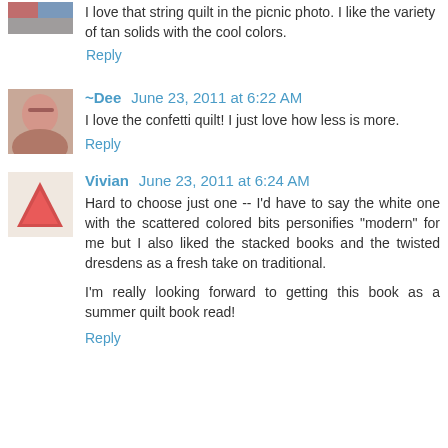I love that string quilt in the picnic photo. I like the variety of tan solids with the cool colors.
Reply
~Dee  June 23, 2011 at 6:22 AM
I love the confetti quilt! I just love how less is more.
Reply
Vivian  June 23, 2011 at 6:24 AM
Hard to choose just one -- I'd have to say the white one with the scattered colored bits personifies "modern" for me but I also liked the stacked books and the twisted dresdens as a fresh take on traditional.
I'm really looking forward to getting this book as a summer quilt book read!
Reply